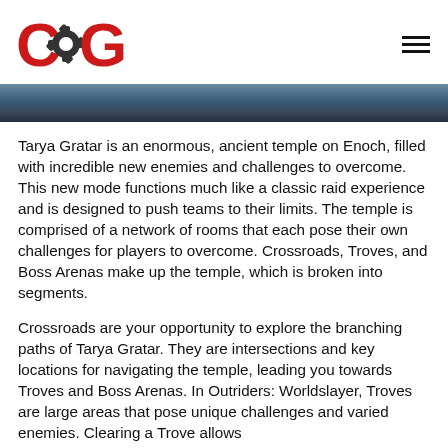COG logo and hamburger menu
[Figure (photo): A banner image showing a scene from Outriders: Worldslayer game, with characters in action]
Tarya Gratar is an enormous, ancient temple on Enoch, filled with incredible new enemies and challenges to overcome. This new mode functions much like a classic raid experience and is designed to push teams to their limits. The temple is comprised of a network of rooms that each pose their own challenges for players to overcome. Crossroads, Troves, and Boss Arenas make up the temple, which is broken into segments.
Crossroads are your opportunity to explore the branching paths of Tarya Gratar. They are intersections and key locations for navigating the temple, leading you towards Troves and Boss Arenas. In Outriders: Worldslayer, Troves are large areas that pose unique challenges and varied enemies. Clearing a Trove allows